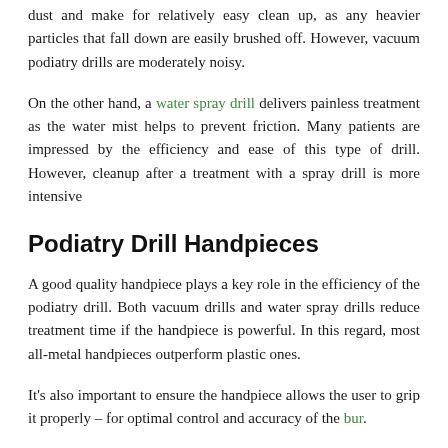dust and make for relatively easy clean up, as any heavier particles that fall down are easily brushed off. However, vacuum podiatry drills are moderately noisy.
On the other hand, a water spray drill delivers painless treatment as the water mist helps to prevent friction. Many patients are impressed by the efficiency and ease of this type of drill. However, cleanup after a treatment with a spray drill is more intensive
Podiatry Drill Handpieces
A good quality handpiece plays a key role in the efficiency of the podiatry drill. Both vacuum drills and water spray drills reduce treatment time if the handpiece is powerful. In this regard, most all-metal handpieces outperform plastic ones.
It's also important to ensure the handpiece allows the user to grip it properly – for optimal control and accuracy of the bur.